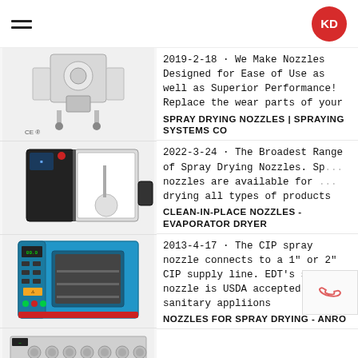KD logo and hamburger menu
[Figure (photo): Spray dryer machine with CE marking, stainless steel industrial equipment on wheels]
[Figure (photo): Black laboratory spray drying machine with open door showing interior]
[Figure (photo): Blue industrial oven/dryer with digital controls and window]
[Figure (photo): Industrial tray/rack equipment, partially visible at bottom]
2019-2-18 · We Make Nozzles Designed for Ease of Use as well as Superior Performance! Replace the wear parts of your
SPRAY DRYING NOZZLES | SPRAYING SYSTEMS CO
2022-3-24 · The Broadest Range of Spray Drying Nozzles. Sp... nozzles are available for ... drying all types of products
CLEAN-IN-PLACE NOZZLES - EVAPORATOR DRYER
2013-4-17 · The CIP spray nozzle connects to a 1" or 2" CIP supply line. EDT's spray nozzle is USDA accepted for sanitary appliions
NOZZLES FOR SPRAY DRYING - ANRO